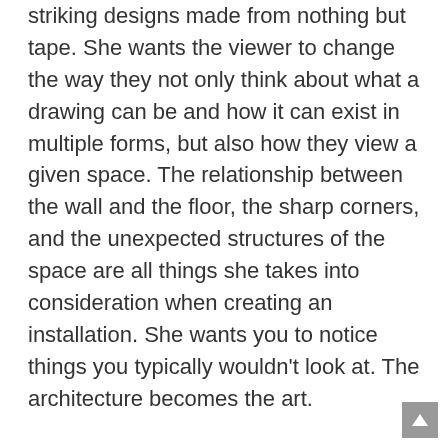striking designs made from nothing but tape. She wants the viewer to change the way they not only think about what a drawing can be and how it can exist in multiple forms, but also how they view a given space. The relationship between the wall and the floor, the sharp corners, and the unexpected structures of the space are all things she takes into consideration when creating an installation. She wants you to notice things you typically wouldn't look at. The architecture becomes the art.
Katelyn currently lives in Bordentown, New Jersey and is a recent graduate from The College of New Jersey with her B.A. in Art Education with a minor in Psychology. She